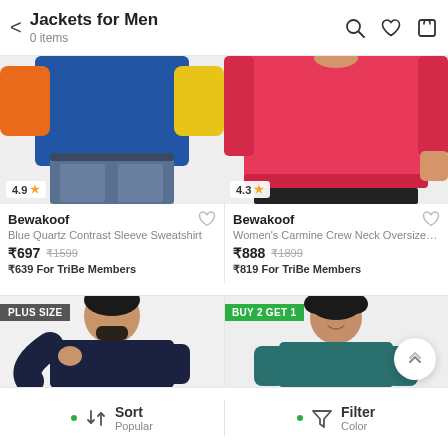Jackets for Men — 0 items
[Figure (photo): Man wearing blue, orange and yellow color-block sweatshirt with jeans, rating 4.9]
[Figure (photo): Person wearing pink/carmine crew neck oversized sweatshirt, rating 4.3]
Bewakoof — Blue Quartz Contrast Sleeve Sweatshirt — ₹697 ₹1599 — ₹639 For TriBe Members
Bewakoof — Women's Carmine Crew Neck Oversized Sw... — ₹888 ₹1899 — ₹819 For TriBe Members
[Figure (photo): Man wearing dark navy sweatshirt, PLUS SIZE badge]
[Figure (photo): Man wearing teal sweatshirt smiling, BUY 2 GET 1 badge]
Sort — Popular | Filter — Color